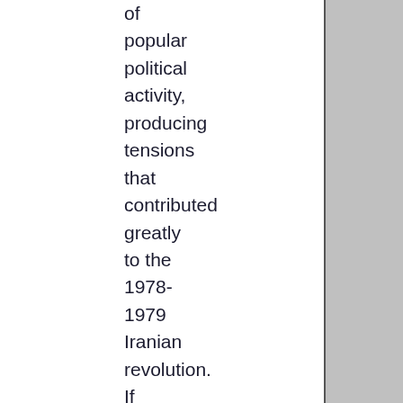of popular political activity, producing tensions that contributed greatly to the 1978-1979 Iranian revolution. If Mosaddeq had not been overthrown, the revolution might